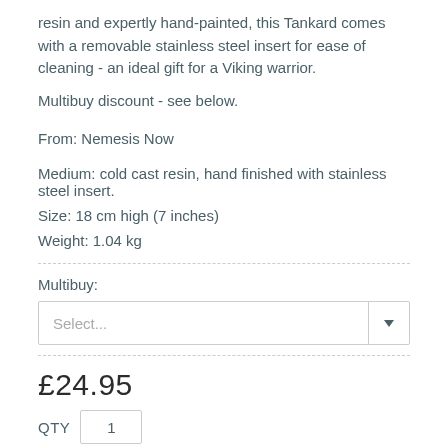resin and expertly hand-painted, this Tankard comes with a removable stainless steel insert for ease of cleaning - an ideal gift for a Viking warrior.
Multibuy discount - see below.
From: Nemesis Now
Medium: cold cast resin, hand finished with stainless steel insert.
Size: 18 cm high (7 inches)
Weight: 1.04 kg
Multibuy:
Select...
£24.95
QTY  1